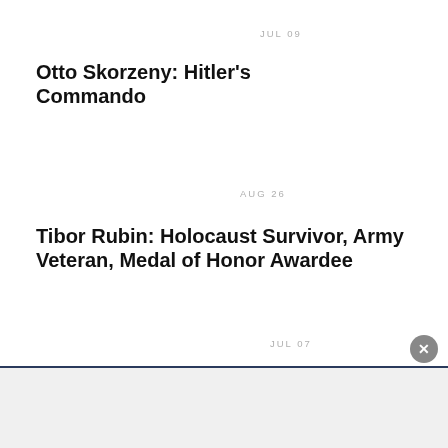JUL 09
Otto Skorzeny: Hitler's Commando
AUG 26
Tibor Rubin: Holocaust Survivor, Army Veteran, Medal of Honor Awardee
JUL 07
Germany: 96-year-old Auschwitz